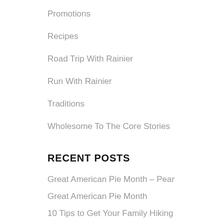Promotions
Recipes
Road Trip With Rainier
Run With Rainier
Traditions
Wholesome To The Core Stories
RECENT POSTS
Great American Pie Month – Pear
Great American Pie Month
10 Tips to Get Your Family Hiking
Adventure Racing
10 ESSENTIALS TO GET YOU HIKING